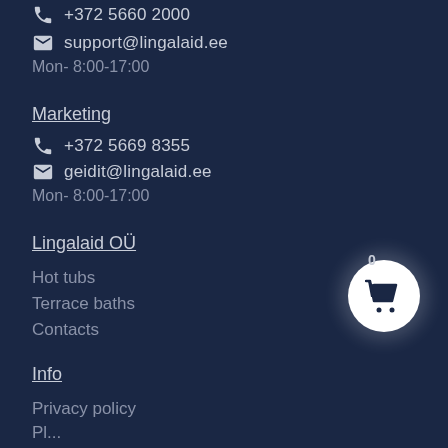+372 5660 2000
support@lingalaid.ee
Mon- 8:00-17:00
Marketing
+372 5669 8355
geidit@lingalaid.ee
Mon- 8:00-17:00
Lingalaid OÜ
Hot tubs
Terrace baths
Contacts
Info
Privacy policy
[Figure (illustration): Shopping cart icon in a white circle with badge showing 0]